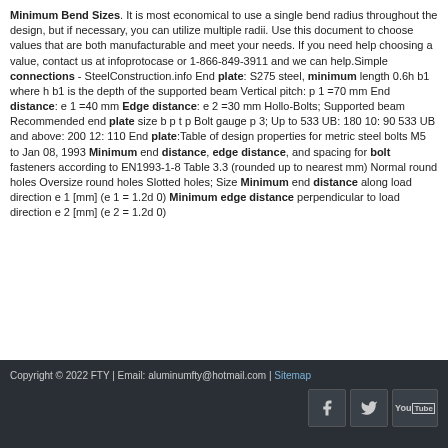Minimum Bend Sizes. It is most economical to use a single bend radius throughout the design, but if necessary, you can utilize multiple radii. Use this document to choose values that are both manufacturable and meet your needs. If you need help choosing a value, contact us at infoprotocase or 1-866-849-3911 and we can help.Simple connections - SteelConstruction.info End plate: S275 steel, minimum length 0.6h b1 where h b1 is the depth of the supported beam Vertical pitch: p 1 =70 mm End distance: e 1 =40 mm Edge distance: e 2 =30 mm Hollo-Bolts; Supported beam Recommended end plate size b p t p Bolt gauge p 3; Up to 533 UB: 180 10: 90 533 UB and above: 200 12: 110 End plate:Table of design properties for metric steel bolts M5 to Jan 08, 1993 Minimum end distance, edge distance, and spacing for bolt fasteners according to EN1993-1-8 Table 3.3 (rounded up to nearest mm) Normal round holes Oversize round holes Slotted holes; Size Minimum end distance along load direction e 1 [mm] (e 1 = 1.2d 0) Minimum edge distance perpendicular to load direction e 2 [mm] (e 2 = 1.2d 0)
Copyright © 2022 FTY | Email: aluminumfty@hotmail.com | Sitemap